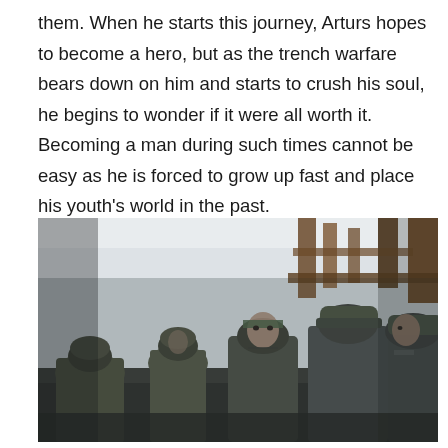them. When he starts this journey, Arturs hopes to become a hero, but as the trench warfare bears down on him and starts to crush his soul, he begins to wonder if it were all worth it. Becoming a man during such times cannot be easy as he is forced to grow up fast and place his youth's world in the past.
[Figure (photo): A group of soldiers wearing World War I era German military uniforms and helmets standing in a trench. The soldiers are in close proximity, with one young soldier visible in the center looking forward. The setting shows wooden trench fortifications in the background.]